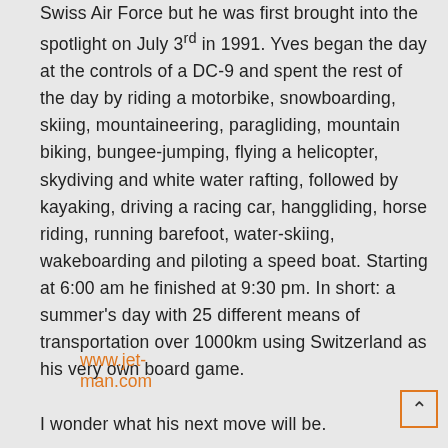Swiss Air Force but he was first brought into the spotlight on July 3rd in 1991. Yves began the day at the controls of a DC-9 and spent the rest of the day by riding a motorbike, snowboarding, skiing, mountaineering, paragliding, mountain biking, bungee-jumping, flying a helicopter, skydiving and white water rafting, followed by kayaking, driving a racing car, hanggliding, horse riding, running barefoot, water-skiing, wakeboarding and piloting a speed boat. Starting at 6:00 am he finished at 9:30 pm. In short: a summer's day with 25 different means of transportation over 1000km using Switzerland as his very own board game.
I wonder what his next move will be.
www.jet-man.com